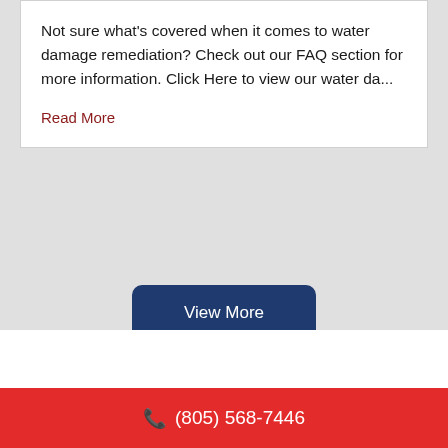Not sure what's covered when it comes to water damage remediation? Check out our FAQ section for more information. Click Here to view our water da...
Read More
View More
(805) 568-7446